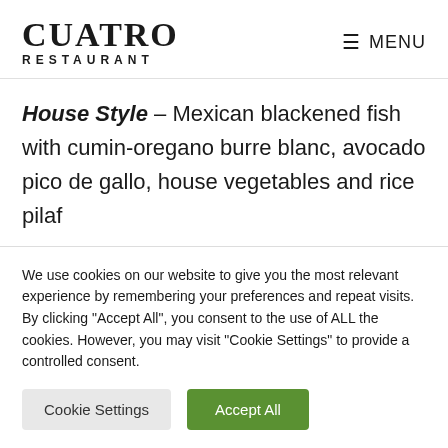CUATRO RESTAURANT — MENU
House Style – Mexican blackened fish with cumin-oregano burre blanc, avocado pico de gallo, house vegetables and rice pilaf
Mauiterranean Grilled Fish – tomato-caper
We use cookies on our website to give you the most relevant experience by remembering your preferences and repeat visits. By clicking "Accept All", you consent to the use of ALL the cookies. However, you may visit "Cookie Settings" to provide a controlled consent.